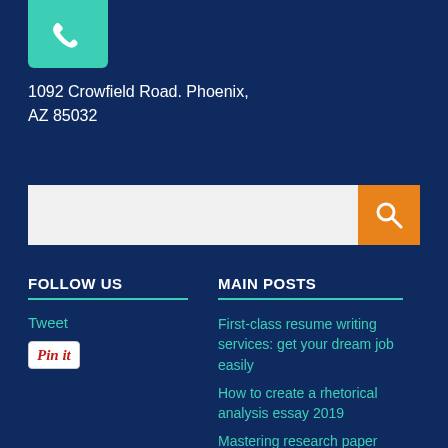[Figure (illustration): Teal/green phone icon on a teal rectangular background, partially cropped at top]
1092 Crowfield Road. Phoenix, AZ 85032
[Figure (other): Search bar with white input field and orange search button with magnifying glass icon]
FOLLOW US
Tweet
[Figure (other): Pinterest Pin it button]
MAIN POSTS
First-class resume writing services: get your dream job easily
How to create a rhetorical analysis essay 2019
Mastering research paper introduction skills in 2019
Business analyst resume